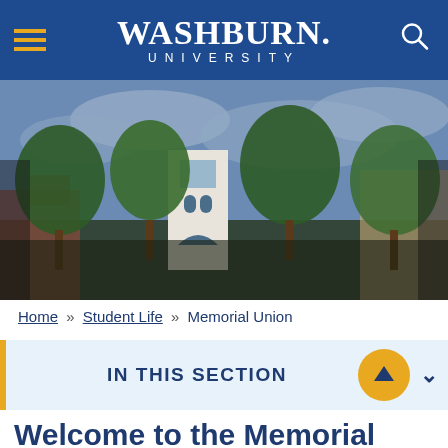WASHBURN UNIVERSITY
[Figure (photo): Campus building with trees and cloudy sky - Washburn University Memorial Union exterior]
Home » Student Life » Memorial Union
IN THIS SECTION
Welcome to the Memorial